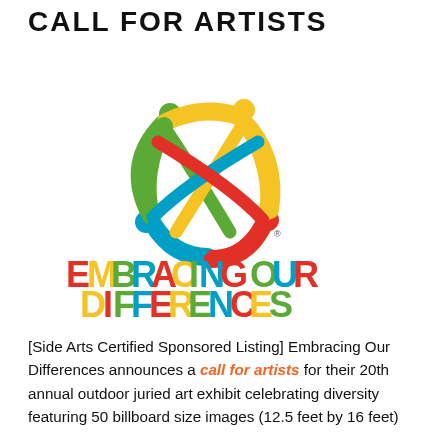CALL FOR ARTISTS
[Figure (logo): Embracing Our Differences logo: colorful circular figure with four people holding hands, and the text 'EMBRACING OUR DIFFERENCES' in multicolor bold letters below]
[Side Arts Certified Sponsored Listing] Embracing Our Differences announces a call for artists for their 20th annual outdoor juried art exhibit celebrating diversity featuring 50 billboard size images (12.5 feet by 16 feet)